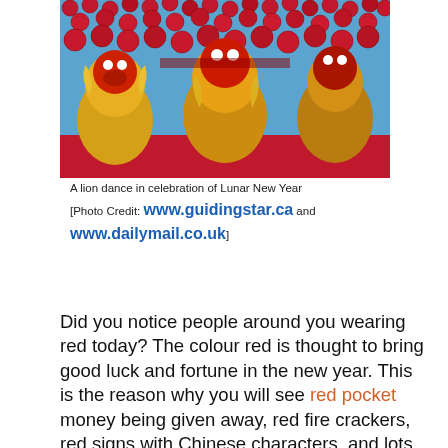[Figure (photo): A lion dance performance with performers in colorful yellow and red lion costumes under a canopy of red lanterns hanging from a temple or festival venue.]
A lion dance in celebration of Lunar New Year
[Photo Credit: www.guidingstar.ca and www.dailymail.co.uk]
Did you notice people around you wearing red today? The colour red is thought to bring good luck and fortune in the new year. This is the reason why you will see red pocket money being given away, red fire crackers, red signs with Chinese characters, and lots of red lanterns! You